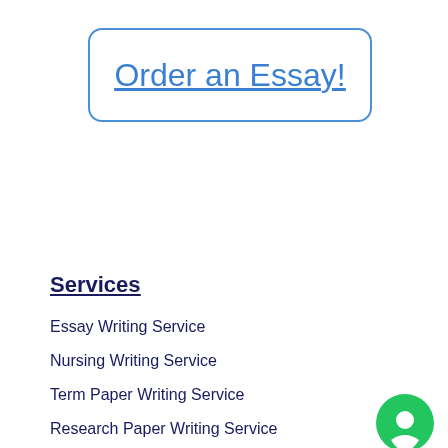[Figure (other): Rounded rectangle button with blue border containing underlined blue link text 'Order an Essay!']
Services
Essay Writing Service
Nursing Writing Service
Term Paper Writing Service
Research Paper Writing Service
[Figure (other): Green circular chat bubble icon in bottom right corner]